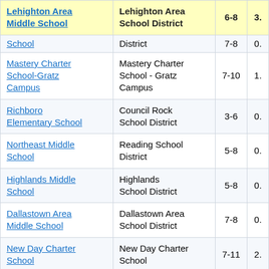| Lehighton Area Middle School | Lehighton Area School District | 6-8 | 3. |
| --- | --- | --- | --- |
| School | District | 7-8 | 0. |
| Mastery Charter School-Gratz Campus | Mastery Charter School - Gratz Campus | 7-10 | 1. |
| Richboro Elementary School | Council Rock School District | 3-6 | 0. |
| Northeast Middle School | Reading School District | 5-8 | 0. |
| Highlands Middle School | Highlands School District | 5-8 | 0. |
| Dallastown Area Middle School | Dallastown Area School District | 7-8 | 0. |
| New Day Charter School | New Day Charter School | 7-11 | 2. |
| Forest Hills | Forest Hills | 3-6 | 0. |